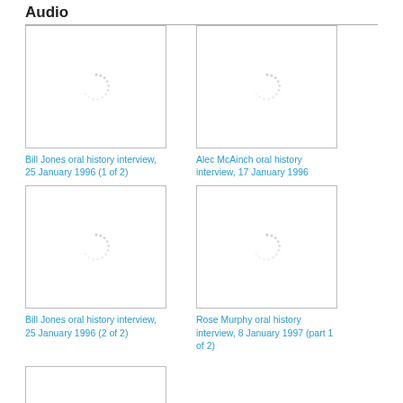Audio
[Figure (illustration): Audio thumbnail with loading spinner icon]
Bill Jones oral history interview, 25 January 1996 (1 of 2)
[Figure (illustration): Audio thumbnail with loading spinner icon]
Alec McAinch oral history interview, 17 January 1996
[Figure (illustration): Audio thumbnail with loading spinner icon]
Bill Jones oral history interview, 25 January 1996 (2 of 2)
[Figure (illustration): Audio thumbnail with loading spinner icon]
Rose Murphy oral history interview, 8 January 1997 (part 1 of 2)
[Figure (illustration): Partial audio thumbnail (cropped at bottom of page)]